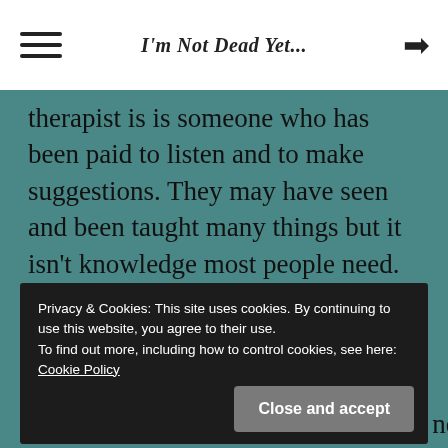I'm Not Dead Yet...
therapist is is someone who has been paid to listen and to make suggestions. They may have seen and been taught many things but it isn't knowledge most people need. Damaged people need a bit of love, acceptance, empathy and friendship, even solidarity with others in the same boat. No
Privacy & Cookies: This site uses cookies. By continuing to use this website, you agree to their use. To find out more, including how to control cookies, see here: Cookie Policy
probably not the right word. You can never